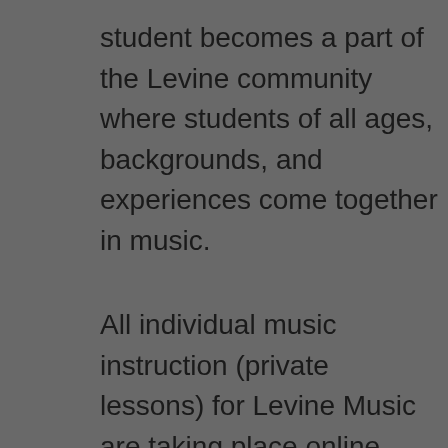student becomes a part of the Levine community where students of all ages, backgrounds, and experiences come together in music.
All individual music instruction (private lessons) for Levine Music are taking place online.